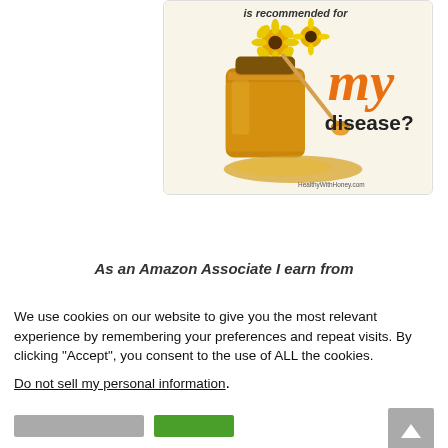[Figure (illustration): Promotional image showing honey jars with sunflowers and text 'is recommended for my disease?' with website HealthyWithHoney.com]
As an Amazon Associate I earn from
We use cookies on our website to give you the most relevant experience by remembering your preferences and repeat visits. By clicking “Accept”, you consent to the use of ALL the cookies.
Do not sell my personal information.